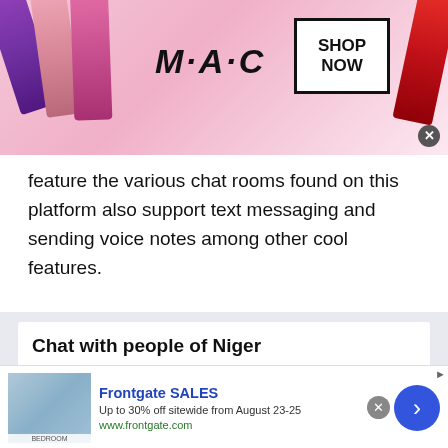[Figure (photo): MAC cosmetics advertisement banner showing lipsticks in purple, pink, and red colors with MAC logo and SHOP NOW button]
feature the various chat rooms found on this platform also support text messaging and sending voice notes among other cool features.
Chat with people of Niger
Remember those old days when talking to a stranger was considered as a weird thing? Yeah, that was way back in the 90's. However, now we are
[Figure (photo): Frontgate SALES advertisement - Up to 30% off sitewide from August 23-25. www.frontgate.com. Shows bedroom image.]